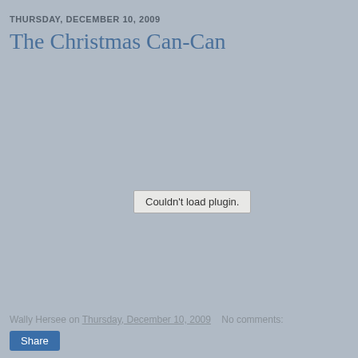THURSDAY, DECEMBER 10, 2009
The Christmas Can-Can
[Figure (other): Embedded media plugin area showing 'Couldn't load plugin.' error message on a grey background]
Wally Hersee on Thursday, December 10, 2009   No comments:
Share